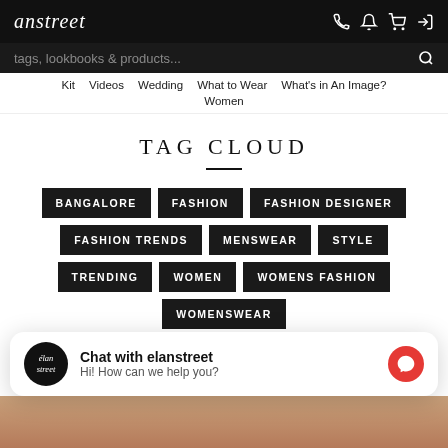anstreet
tags, lookbooks & products...
Kit   Videos   Wedding   What to Wear   What's in An Image?   Women
TAG CLOUD
BANGALORE
FASHION
FASHION DESIGNER
FASHION TRENDS
MENSWEAR
STYLE
TRENDING
WOMEN
WOMENS FASHION
WOMENSWEAR
Chat with elanstreet
Hi! How can we help you?